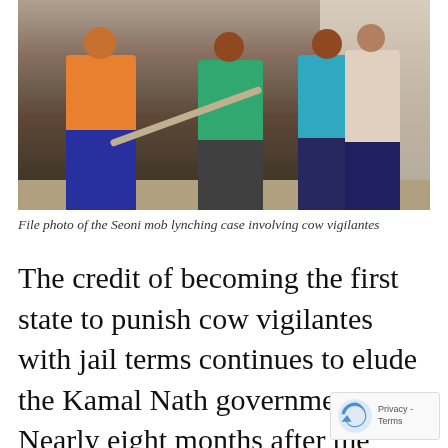[Figure (photo): A photo showing several people, some appearing to assault others near a wall. One person in an orange shirt wields a stick-like object. Others in green and blue clothing are visible. The scene appears to be outdoors on a dirt/stone ground.]
File photo of the Seoni mob lynching case involving cow vigilantes
The credit of becoming the first state to punish cow vigilantes with jail terms continues to elude the Kamal Nath government. Nearly eight months after the Congress government introduced a bill providing for a jail term ranging